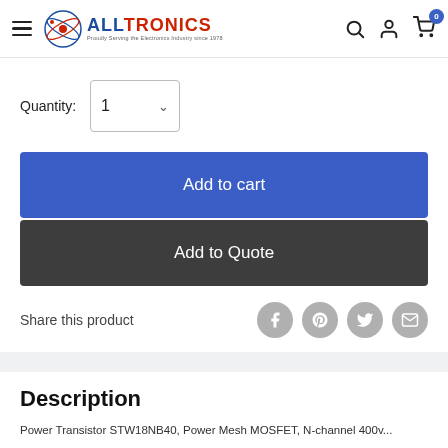ALLTRONICS — Proudly Serving the Electronics Industry since 1978
Quantity: 1
Add to cart
Add to Quote
Share this product
Description
Power Transistor STW18NB40, Power Mesh MOSFET, N-channel 400v...